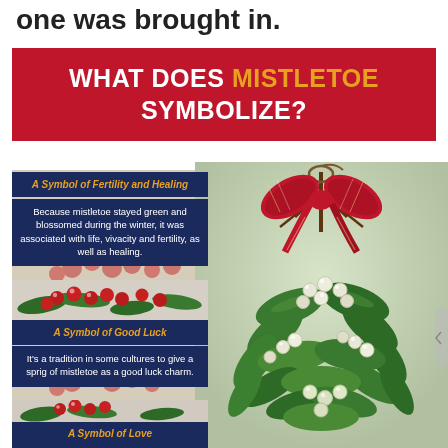one was brought in.
WHAT DOES MISTLETOE SYMBOLIZE?
[Figure (photo): Mistletoe bundle with red plaid bow and white berries, green leaves]
A Symbol of Fertility and Healing
Because mistletoe stayed green and blossomed during the winter, it was associated with life, vivacity and fertility, as well as healing.
[Figure (photo): Red holly berries with pine branches decoration]
A Symbol of Good Luck
It's a tradition in some cultures to give a sprig of mistletoe as a good luck charm.
[Figure (photo): Red holly berries with pine branches decoration]
A Symbol of Love
Mistletoe gives couples an opportunity to share a kiss, thus